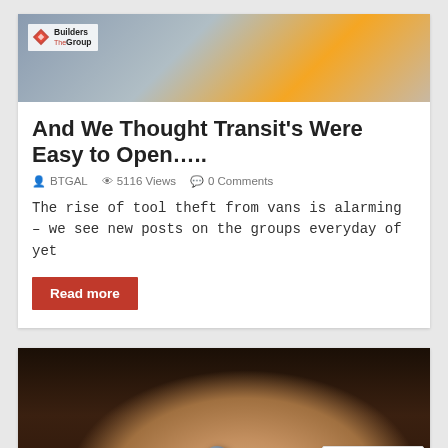[Figure (photo): Photo of a person working on a van roof, with Builders The Group logo overlay in top-left corner]
And We Thought Transit's Were Easy to Open….
BTGAL   5116 Views   0 Comments
The rise of tool theft from vans is alarming – we see new posts on the groups everyday of yet
Read more
[Figure (photo): A hand holding a small grey metal ball bearing in the palm, dark background]